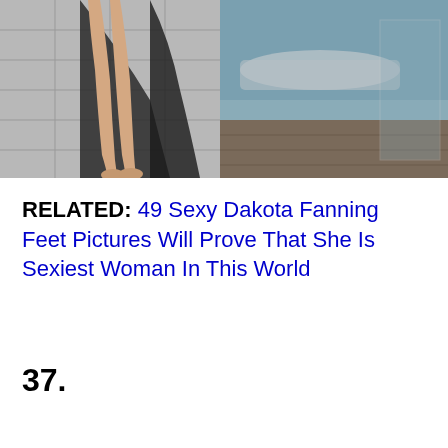[Figure (photo): Cropped photo showing a person's legs and feet near a bathtub/pool area with tiled walls and glass panels in the background]
RELATED: 49 Sexy Dakota Fanning Feet Pictures Will Prove That She Is Sexiest Woman In This World
37.